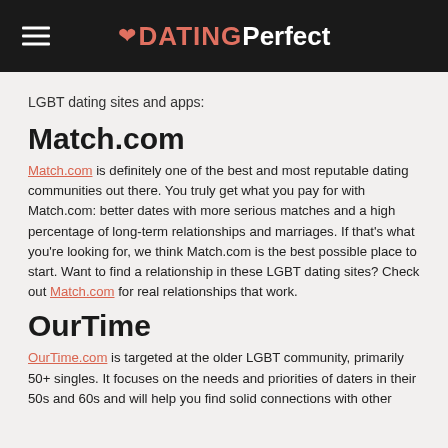DATING Perfect
LGBT dating sites and apps:
Match.com
Match.com is definitely one of the best and most reputable dating communities out there. You truly get what you pay for with Match.com: better dates with more serious matches and a high percentage of long-term relationships and marriages. If that's what you're looking for, we think Match.com is the best possible place to start. Want to find a relationship in these LGBT dating sites? Check out Match.com for real relationships that work.
OurTime
OurTime.com is targeted at the older LGBT community, primarily 50+ singles. It focuses on the needs and priorities of daters in their 50s and 60s and will help you find solid connections with other